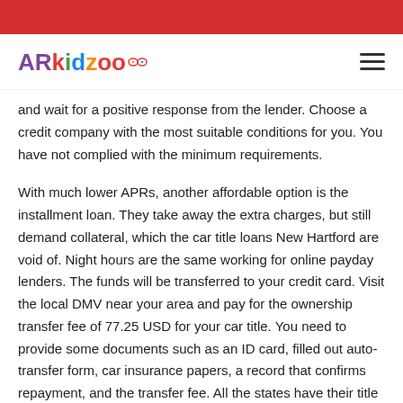ARkidzoo [logo]
and wait for a positive response from the lender. Choose a credit company with the most suitable conditions for you. You have not complied with the minimum requirements.
With much lower APRs, another affordable option is the installment loan. They take away the extra charges, but still demand collateral, which the car title loans New Hartford are void of. Night hours are the same working for online payday lenders. The funds will be transferred to your credit card. Visit the local DMV near your area and pay for the ownership transfer fee of 77.25 USD for your car title. You need to provide some documents such as an ID card, filled out auto-transfer form, car insurance papers, a record that confirms repayment, and the transfer fee. All the states have their title loan due dates